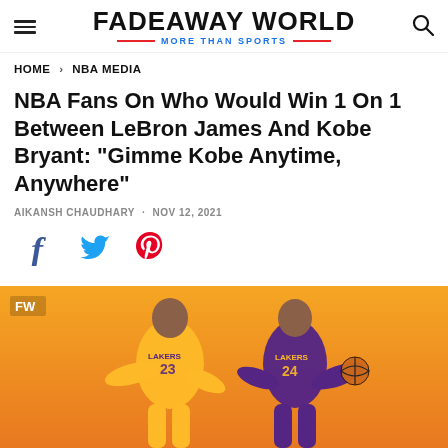FADEAWAY WORLD — MORE THAN SPORTS
HOME > NBA MEDIA
NBA Fans On Who Would Win 1 On 1 Between LeBron James And Kobe Bryant: "Gimme Kobe Anytime, Anywhere"
AIKANSH CHAUDHARY · NOV 12, 2021
[Figure (other): Social share icons: Facebook, Twitter, Pinterest]
[Figure (photo): LeBron James in Lakers #23 yellow jersey and Kobe Bryant in Lakers purple jersey #24 on an orange-gold gradient background with FW badge watermark]